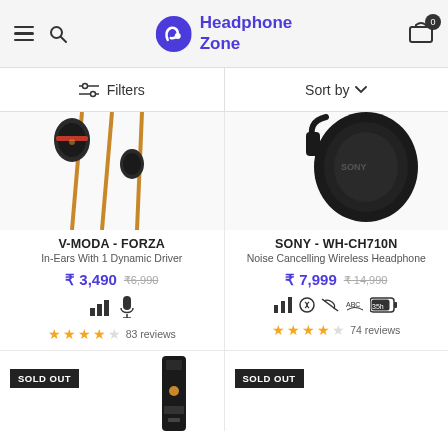Headphone Zone
Filters | Sort by
[Figure (photo): V-MODA Forza in-ear headphones with gold/yellow cable]
V-MODA - FORZA
In-Ears With 1 Dynamic Driver
₹ 3,490  ₹6,990
83 reviews
[Figure (photo): Sony WH-CH710N black over-ear wireless headphone]
SONY - WH-CH710N
Noise Cancelling Wireless Headphone
₹ 7,999  ₹14,990
74 reviews
SOLD OUT
[Figure (photo): Small black audio device, partially visible]
SOLD OUT